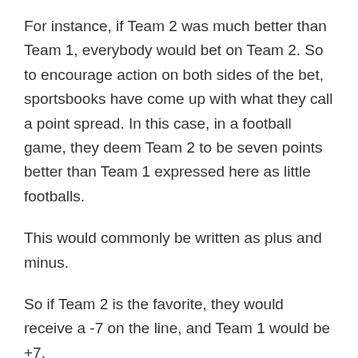For instance, if Team 2 was much better than Team 1, everybody would bet on Team 2. So to encourage action on both sides of the bet, sportsbooks have come up with what they call a point spread. In this case, in a football game, they deem Team 2 to be seven points better than Team 1 expressed here as little footballs.
This would commonly be written as plus and minus.
So if Team 2 is the favorite, they would receive a -7 on the line, and Team 1 would be +7.
The plus team is always the underdog, whereas the minus team, though it may seem counterintuitive, is always the favorite.